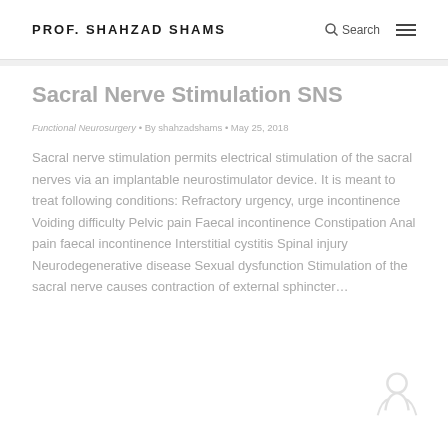PROF. SHAHZAD SHAMS
Sacral Nerve Stimulation SNS
Functional Neurosurgery • By shahzadshams • May 25, 2018
Sacral nerve stimulation permits electrical stimulation of the sacral nerves via an implantable neurostimulator device. It is meant to treat following conditions: Refractory urgency, urge incontinence Voiding difficulty Pelvic pain Faecal incontinence Constipation Anal pain faecal incontinence Interstitial cystitis Spinal injury Neurodegenerative disease Sexual dysfunction Stimulation of the sacral nerve causes contraction of external sphincter…